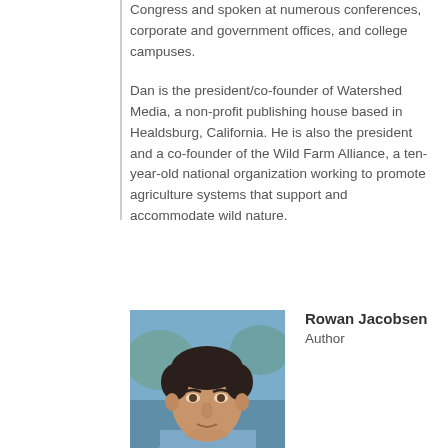Congress and spoken at numerous conferences, corporate and government offices, and college campuses.

Dan is the president/co-founder of Watershed Media, a non-profit publishing house based in Healdsburg, California. He is also the president and a co-founder of the Wild Farm Alliance, a ten-year-old national organization working to promote agriculture systems that support and accommodate wild nature.
[Figure (photo): Headshot photo of Rowan Jacobsen, a man with dark curly hair wearing a light blue shirt, photographed outdoors.]
Rowan Jacobsen
Author